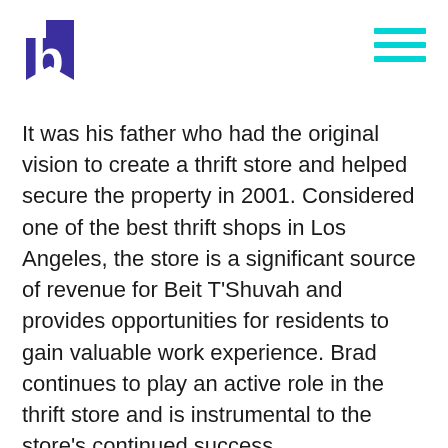[Figure (logo): Beit T'Shuvah logo — stylized letter 'b' in purple/dark blue with a flag-like graphic element, on white background]
[Figure (other): Hamburger menu icon — three horizontal cyan/teal lines stacked vertically]
It was his father who had the original vision to create a thrift store and helped secure the property in 2001. Considered one of the best thrift shops in Los Angeles, the store is a significant source of revenue for Beit T'Shuvah and provides opportunities for residents to gain valuable work experience. Brad continues to play an active role in the thrift store and is instrumental to the store's continued success.
Brad is the Managing Partner at Pinnacle Estate Properties Inc. in Calabasas. He is married to